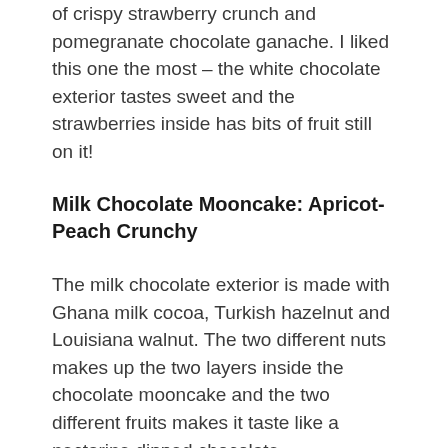of crispy strawberry crunch and pomegranate chocolate ganache. I liked this one the most – the white chocolate exterior tastes sweet and the strawberries inside has bits of fruit still on it!
Milk Chocolate Mooncake: Apricot-Peach Crunchy
The milk chocolate exterior is made with Ghana milk cocoa, Turkish hazelnut and Louisiana walnut. The two different nuts makes up the two layers inside the chocolate mooncake and the two different fruits makes it taste like a nectarine dipped chocolate.
Dark Chocolate Mooncake: Mango-Passion Fruit Crunch